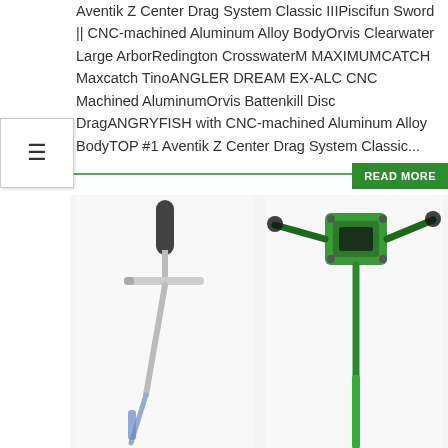Aventik Z Center Drag System Classic IIIPiscifun Sword || CNC-machined Aluminum Alloy BodyOrvis Clearwater Large ArborRedington CrosswaterM MAXIMUMCATCH Maxcatch TinoANGLER DREAM EX-ALC CNC Machined AluminumOrvis Battenkill Disc DragANGRYFISH with CNC-machined Aluminum Alloy BodyTOP #1 Aventik Z Center Drag System Classic...
READ MORE
[Figure (photo): Two outdoor power tools shown side by side — left shows a grey/silver trimmer or brush cutter handle and shaft, right shows a green trimmer or brush cutter with motor head visible]